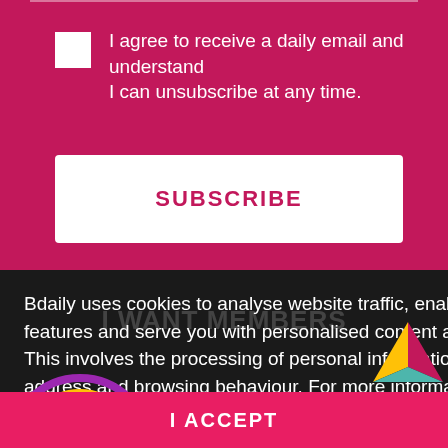I agree to receive a daily email and understand I can unsubscribe at any time.
SUBSCRIBE
rs
Bdaily uses cookies to analyse website traffic, enable social media features and serve you with personalised content and advertisements. This involves the processing of personal information including your IP address and browsing behaviour. For more information, please see our Cookies Policy
I ACCEPT